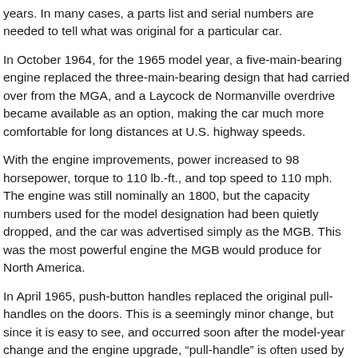years. In many cases, a parts list and serial numbers are needed to tell what was original for a particular car.
In October 1964, for the 1965 model year, a five-main-bearing engine replaced the three-main-bearing design that had carried over from the MGA, and a Laycock de Normanville overdrive became available as an option, making the car much more comfortable for long distances at U.S. highway speeds.
With the engine improvements, power increased to 98 horsepower, torque to 110 lb.-ft., and top speed to 110 mph. The engine was still nominally an 1800, but the capacity numbers used for the model designation had been quietly dropped, and the car was advertised simply as the MGB. This was the most powerful engine the MGB would produce for North America.
In April 1965, push-button handles replaced the original pull-handles on the doors. This is a seemingly minor change, but since it is easy to see, and occurred soon after the model-year change and the engine upgrade, “pull-handle” is often used by MG enthusiasts to designate cars from the 1963 and 1964 model years.